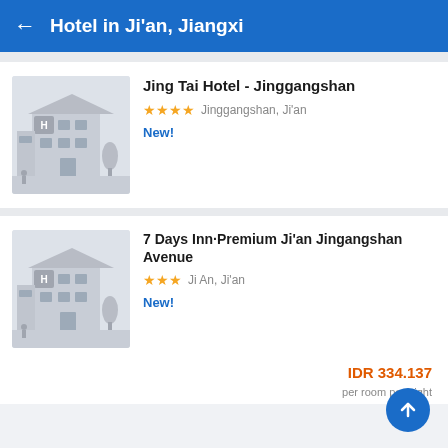Hotel in Ji'an, Jiangxi
Jing Tai Hotel - Jinggangshan
★★★★ Jinggangshan, Ji'an
New!
7 Days Inn·Premium Ji'an Jingangshan Avenue
★★★ Ji An, Ji'an
New!
IDR 334.137
per room per night